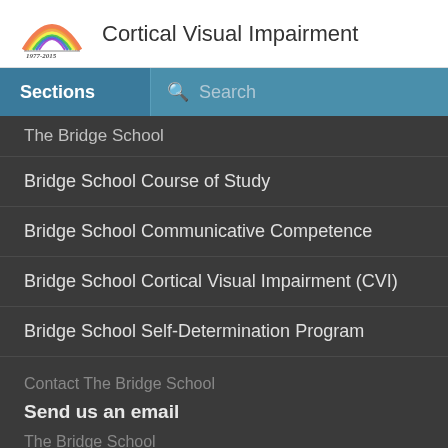Cortical Visual Impairment
The Bridge School
Bridge School Course of Study
Bridge School Communicative Competence
Bridge School Cortical Visual Impairment (CVI)
Bridge School Self-Determination Program
Contact The Bridge School
Send us an email
The Bridge School
545 Eucalyptus Avenue
Hillsborough, CA 94010-6404
T: 650-696-7295
F: 650-342-7598